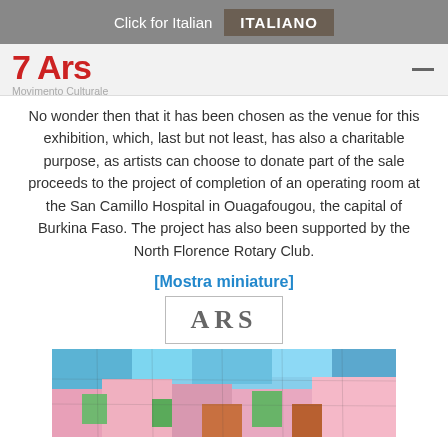Click for Italian  ITALIANO
[Figure (logo): ARS Movimento Culturale logo with red stylized letters and subtitle]
No wonder then that it has been chosen as the venue for this exhibition, which, last but not least, has also a charitable purpose, as artists can choose to donate part of the sale proceeds to the project of completion of an operating room at the San Camillo Hospital in Ouagafougou, the capital of Burkina Faso. The project has also been supported by the North Florence Rotary Club.
[Mostra miniature]
[Figure (logo): ARS text logo inside a rectangular border]
[Figure (photo): Colorful abstract or mosaic-style artwork painting visible at the bottom of the page]